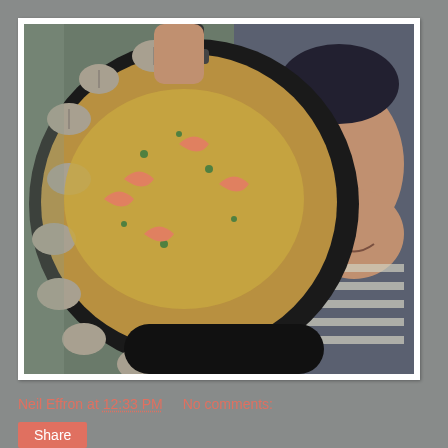[Figure (photo): A large paella pan filled with seafood paella including shrimp and clams, held by a person looking up at the camera. Background shows outdoor deck/patio furniture. A dark pan is visible at the bottom.]
Neil Effron at 12:33 PM   No comments:
Share
Stew the Butcher
If you need good meat, call Stew.  What you see in the